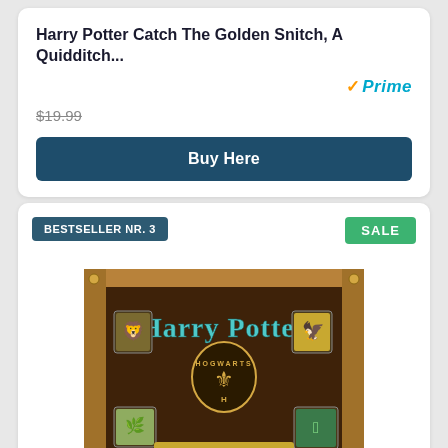Harry Potter Catch The Golden Snitch, A Quidditch...
[Figure (logo): Amazon Prime logo with orange checkmark and blue italic 'Prime' text]
$19.99 (strikethrough price)
Buy Here
BESTSELLER NR. 3
SALE
[Figure (photo): Harry Potter Hogwarts Battle A Cooperative Deck-Building Game box art showing the game box with Harry Potter logo, Hogwarts crest, and house crests on a wooden-textured background]